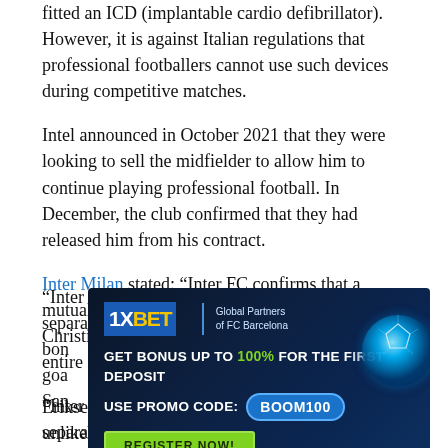fitted an ICD (implantable cardio defibrillator). However, it is against Italian regulations that professional footballers cannot use such devices during competitive matches.
Intel announced in October 2021 that they were looking to sell the midfielder to allow him to continue playing professional football. In December, the club confirmed that they had released him from his contract.
Inter Milan stated: “Inter FC confirms that a mutual agreement has been reached to end Christian Eriksen’s contract.” Christian and his entire Blue and Black family are happy for him.
“Inter and Christian will now be going their separate ways but the bon... goa... San...
[Figure (other): 1XBET advertisement banner. Global Partners of FC Barcelona. GET BONUS UP TO 100% FOR THE FIRST DEPOSIT. USE PROMO CODE: Boom100. REGISTER NOW!]
Eriksen cannot play in Italy. It is therefore unlikely that he will join